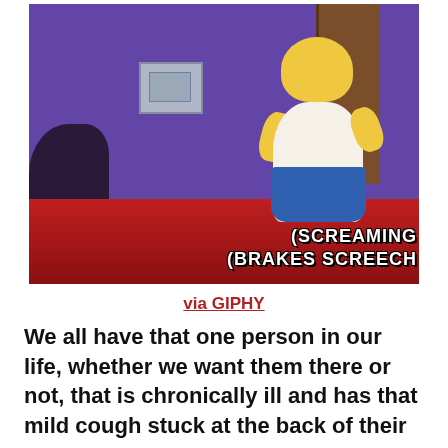[Figure (illustration): Animated GIF screenshot from The Simpsons showing Homer Simpson in a room with purple walls and a red surface, with subtitle text reading '(SCREAMING' and '(BRAKES SCREECH']
via GIPHY
We all have that one person in our life, whether we want them there or not, that is chronically ill and has that mild cough stuck at the back of their